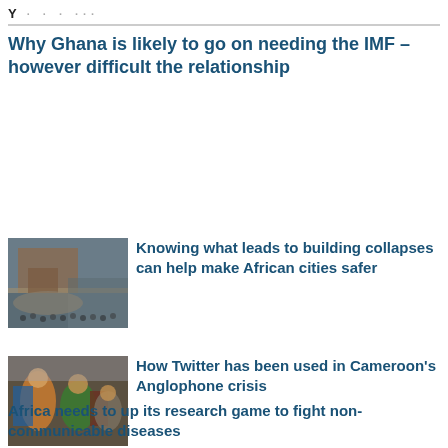Y · · · ···
Why Ghana is likely to go on needing the IMF – however difficult the relationship
[Figure (photo): A collapsed building with crowds of people gathered around the rubble, African urban setting]
Knowing what leads to building collapses can help make African cities safer
[Figure (photo): People dressed in colourful clothing and flags standing together, Cameroon Anglophone crisis context]
How Twitter has been used in Cameroon's Anglophone crisis
Africa needs to up its research game to fight non-communicable diseases